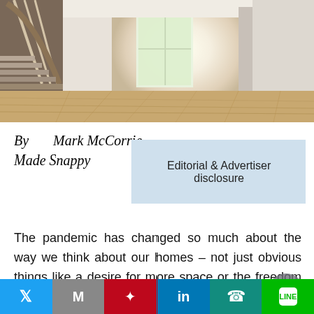[Figure (photo): Interior hallway of an empty house showing hardwood floors, white walls, staircase on the left, and bright window/door at the end of the corridor]
By Mark McCorrie, Made Snappy
Editorial & Advertiser disclosure
The pandemic has changed so much about the way we think about our homes – not just obvious things like a desire for more space or the freedom to move beyond commuting distance to the office